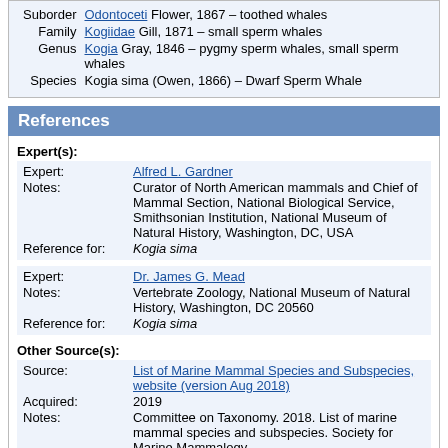| Suborder | Odontoceti Flower, 1867 – toothed whales |
| Family | Kogiidae Gill, 1871 – small sperm whales |
| Genus | Kogia Gray, 1846 – pygmy sperm whales, small sperm whales |
| Species | Kogia sima (Owen, 1866) – Dwarf Sperm Whale |
References
Expert(s):
Expert: Alfred L. Gardner
Notes: Curator of North American mammals and Chief of Mammal Section, National Biological Service, Smithsonian Institution, National Museum of Natural History, Washington, DC, USA
Reference for: Kogia sima
Expert: Dr. James G. Mead
Notes: Vertebrate Zoology, National Museum of Natural History, Washington, DC 20560
Reference for: Kogia sima
Other Source(s):
Source: List of Marine Mammal Species and Subspecies, website (version Aug 2018)
Acquired: 2019
Notes: Committee on Taxonomy. 2018. List of marine mammal species and subspecies. Society for Marine Mammalogy, www.marinemammalscience.org, consulted on 16 April 2019
Reference for: Kogia sima, Dwarf Sperm Whale [English]